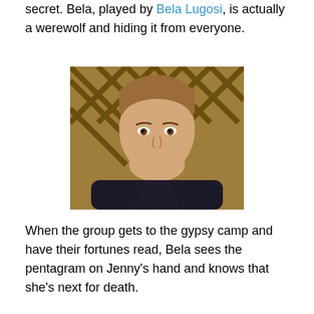secret. Bela, played by Bela Lugosi, is actually a werewolf and hiding it from everyone.
[Figure (photo): A young man with light brown hair looking slightly worried or concerned, wearing a dark jacket, photographed indoors with a wooden lattice background.]
When the group gets to the gypsy camp and have their fortunes read, Bela sees the pentagram on Jenny's hand and knows that she's next for death.
[Figure (photo): A blonde woman with wide eyes looking startled or frightened, with a large ornate wooden structure visible in the background.]